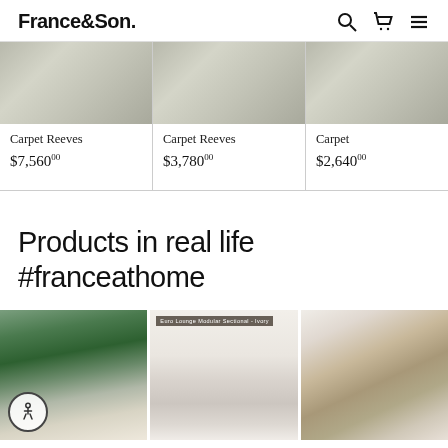France&Son.
[Figure (photo): Carpet Reeves product image - textured fabric/carpet swatch in gray-green tones]
Carpet Reeves
$7,560.00
[Figure (photo): Carpet Reeves product image - textured fabric/carpet swatch in gray-green tones]
Carpet Reeves
$3,780.00
[Figure (photo): Carpet Reeves product image - textured fabric/carpet swatch in gray-green tones (partially cropped)]
Carpet
$2,640
Products in real life
#franceathome
[Figure (photo): Interior photo of a kitchen/bar area with green plants and white bar stools with gold bases; accessibility icon overlay in bottom left]
[Figure (photo): Product photo of a cream/beige modular sectional sofa on white background with product tag overlay]
[Figure (photo): Interior photo of a rustic dining room with wooden chairs, American flag decor, and industrial pendant light]